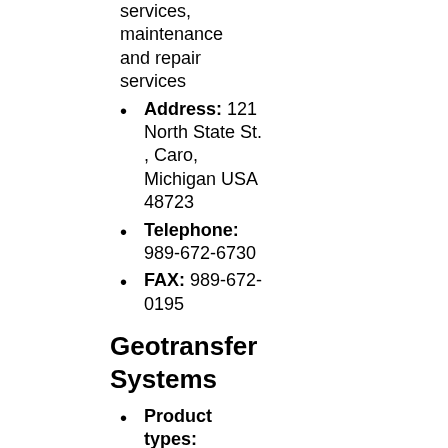services, maintenance and repair services
Address: 121 North State St. , Caro, Michigan USA 48723
Telephone: 989-672-6730
FAX: 989-672-0195
Geotransfer Systems
Product types: geothermal energy system components, geothermal energy systems, boat